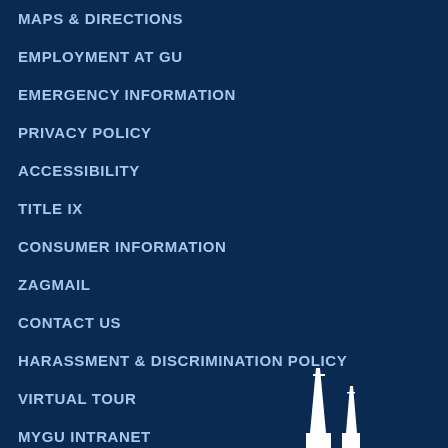MAPS & DIRECTIONS
EMPLOYMENT AT GU
EMERGENCY INFORMATION
PRIVACY POLICY
ACCESSIBILITY
TITLE IX
CONSUMER INFORMATION
ZAGMAIL
CONTACT US
HARASSMENT & DISCRIMINATION POLICY
VIRTUAL TOUR
MYGU INTRANET
[Figure (illustration): White church steeple/spire silhouette against dark navy background, visible at bottom right of page]